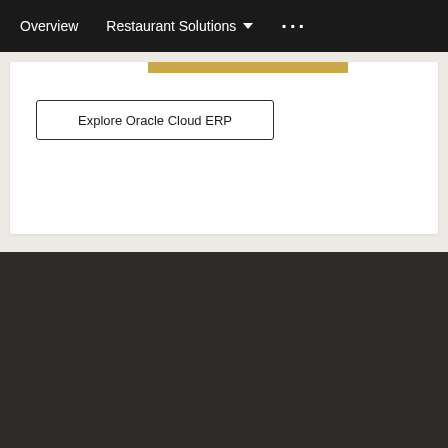Overview    Restaurant Solutions ▾    •••
Explore Oracle Cloud ERP
Ресурсы
Почему Oracle?
Узнать больше
Что нового
Свяжитесь с нами